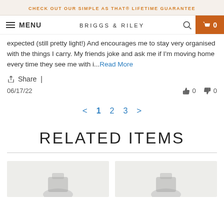CHECK OUT OUR SIMPLE AS THAT® LIFETIME GUARANTEE
MENU | BRIGGS & RILEY
expected (still pretty light!) And encourages me to stay very organised with the things I carry. My friends joke and ask me if I'm moving home every time they see me with i...Read More
Share |
06/17/22   👍 0   👎 0
< 1 2 3 >
RELATED ITEMS